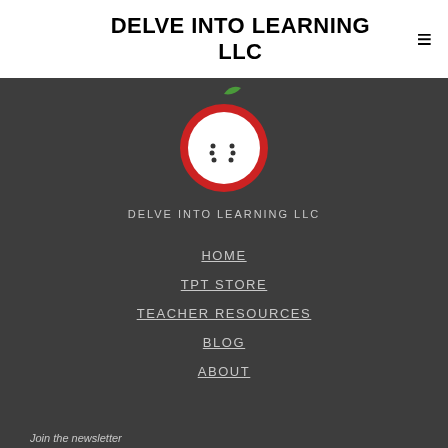DELVE INTO LEARNING LLC
[Figure (logo): Circular apple logo with a red ring border and dot pattern seeds on white background]
DELVE INTO LEARNING LLC
HOME
TPT STORE
TEACHER RESOURCES
BLOG
ABOUT
Join the newsletter